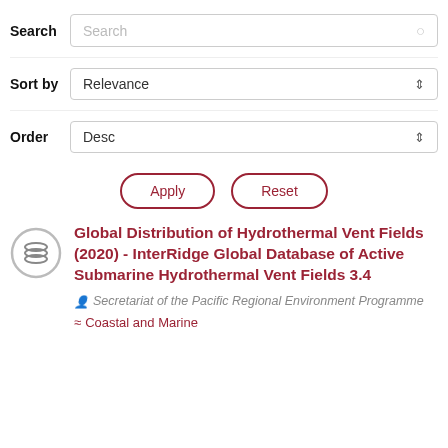Search
Sort by | Relevance
Order | Desc
Apply | Reset
Global Distribution of Hydrothermal Vent Fields (2020) - InterRidge Global Database of Active Submarine Hydrothermal Vent Fields 3.4
Secretariat of the Pacific Regional Environment Programme
≈ Coastal and Marine